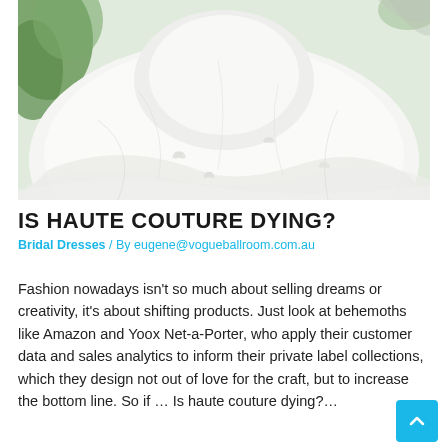[Figure (photo): Close-up photograph of a white bridal gown with layered tulle and floral embellishments, displayed against a soft natural background with greenery.]
IS HAUTE COUTURE DYING?
Bridal Dresses / By eugene@vogueballroom.com.au
Fashion nowadays isn't so much about selling dreams or creativity, it's about shifting products. Just look at behemoths like Amazon and Yoox Net-a-Porter, who apply their customer data and sales analytics to inform their private label collections, which they design not out of love for the craft, but to increase the bottom line. So if … Is haute couture dying?…